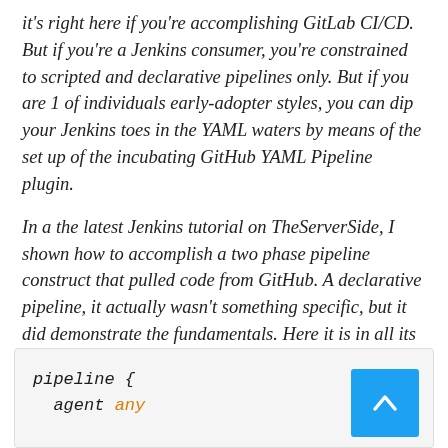it's right here if you're accomplishing GitLab CI/CD. But if you're a Jenkins consumer, you're constrained to scripted and declarative pipelines only. But if you are 1 of individuals early-adopter styles, you can dip your Jenkins toes in the YAML waters by means of the set up of the incubating GitHub YAML Pipeline plugin.
In a the latest Jenkins tutorial on TheServerSide, I shown how to accomplish a two phase pipeline construct that pulled code from GitHub. A declarative pipeline, it actually wasn't something specific, but it did demonstrate the fundamentals. Here it is in all its glory:
[Figure (screenshot): Code snippet box showing beginning of a Jenkins declarative pipeline in monospace italic font: 'pipeline {' and '  agent any', with a blue scroll-to-top button in the bottom-right corner.]